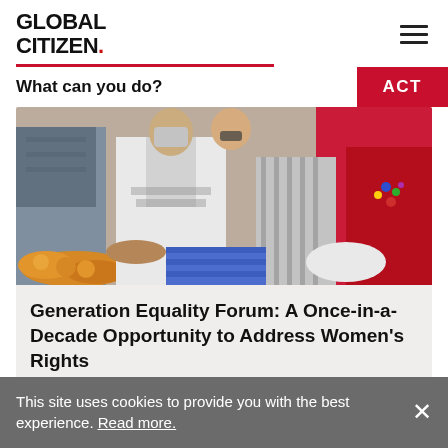GLOBAL CITIZEN.
What can you do?
[Figure (photo): Group of women in traditional and casual clothing seated together, some wearing masks and colorful accessories, at what appears to be a public gathering or protest]
Generation Equality Forum: A Once-in-a-Decade Opportunity to Address Women's Rights
This site uses cookies to provide you with the best experience. Read more.